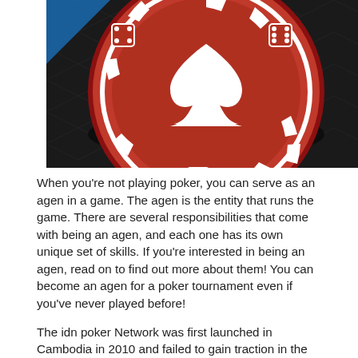[Figure (photo): Close-up photograph of a red poker chip with a white spade symbol in the center, showing dice markings around the edge, resting on a dark textured surface with a blue corner visible in the top-left.]
When you're not playing poker, you can serve as an agen in a game. The agen is the entity that runs the game. There are several responsibilities that come with being an agen, and each one has its own unique set of skills. If you're interested in being an agen, read on to find out more about them! You can become an agen for a poker tournament even if you've never played before!
The idn poker Network was first launched in Cambodia in 2010 and failed to gain traction in the